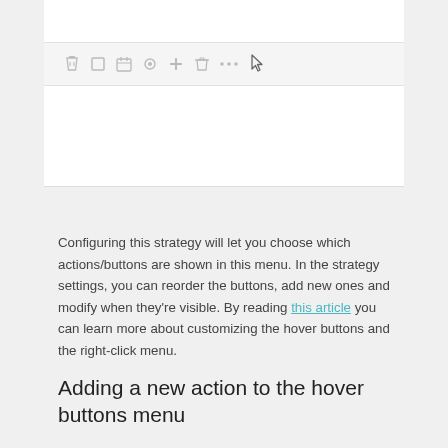[Figure (screenshot): Screenshot of a toolbar/hover menu with icons: hourglass, square, calendar, gear, plus, trash, ellipsis, and a pointer cursor hovering over the last icon]
Configuring this strategy will let you choose which actions/buttons are shown in this menu. In the strategy settings, you can reorder the buttons, add new ones and modify when they're visible. By reading this article you can learn more about customizing the hover buttons and the right-click menu.
Adding a new action to the hover buttons menu